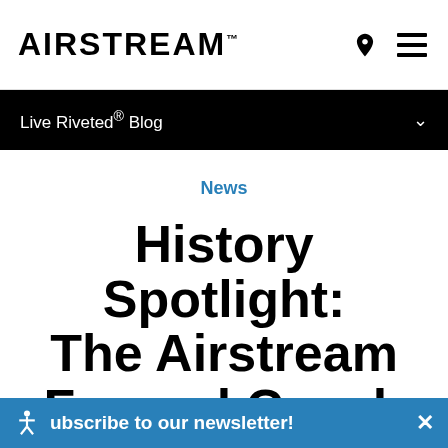AIRSTREAM
Live Riveted® Blog
News
History Spotlight: The Airstream Funeral Coach
Airstream
Subscribe to our newsletter!